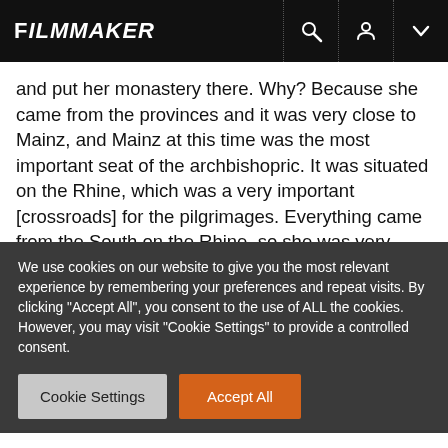FILMMAKER
and put her monastery there. Why? Because she came from the provinces and it was very close to Mainz, and Mainz at this time was the most important seat of the archbishopric. It was situated on the Rhine, which was a very important [crossroads] for the pilgrimages. Everything came from the South on the Rhine, so she was very close to new knowledge. She believed that God [directed] her there, but it was really her own wish to go there.
We use cookies on our website to give you the most relevant experience by remembering your preferences and repeat visits. By clicking "Accept All", you consent to the use of ALL the cookies. However, you may visit "Cookie Settings" to provide a controlled consent.